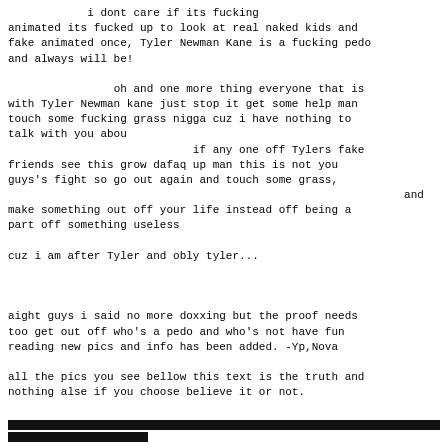i dont care if its fucking animated its fucked up to look at real naked kids and fake animated once, Tyler Newman Kane is a fucking pedo and always will be!

                oh and one more thing everyone that is with Tyler Newman kane just stop it get some help man touch some fucking grass nigga cuz i have nothing to talk with you abou
                            if any one off Tylers fake friends see this grow dafaq up man this is not you guys's fight so go out again and touch some grass,
                                                            and make something out off your life instead off being a part off something useless

cuz i am after Tyler and obly tyler...



aight guys i said no more doxxing but the proof needs too get out off who's a pedo and who's not have fun reading new pics and info has been added. -Yp,Nova

all the pics you see bellow this text is the truth and nothing alse if you choose believe it or not.
[Figure (other): Two horizontal redacted/blacked-out bars at the bottom of the page]